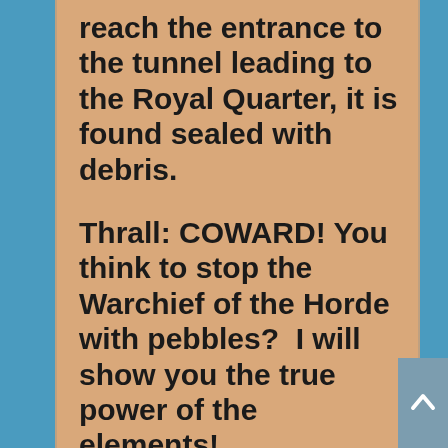reach the entrance to the tunnel leading to the Royal Quarter, it is found sealed with debris.
Thrall: COWARD! You think to stop the Warchief of the Horde with pebbles?  I will show you the true power of the elements!